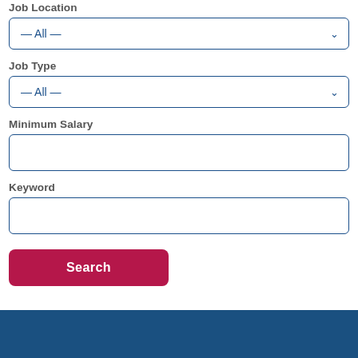Job Location
— All —
Job Type
— All —
Minimum Salary
Keyword
Search